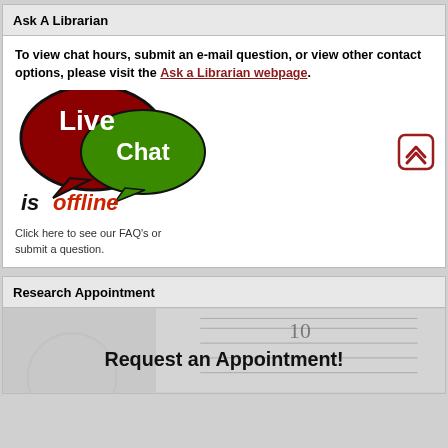Ask A Librarian
To view chat hours, submit an e-mail question, or view other contact options, please visit the Ask a Librarian webpage.
[Figure (illustration): Live Chat is offline graphic with two speech bubbles (red and green) and text 'is offline' below, plus FAQ link text]
Research Appointment
[Figure (illustration): Request an Appointment banner image with calendar/clock background]